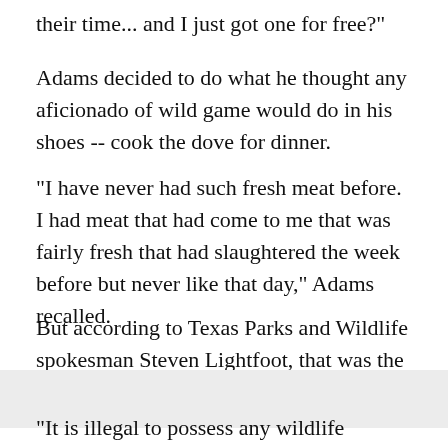their time... and I just got one for free?"
Adams decided to do what he thought any aficionado of wild game would do in his shoes -- cook the dove for dinner.
"I have never had such fresh meat before. I had meat that had come to me that was fairly fresh that had slaughtered the week before but never like that day," Adams recalled.
But according to Texas Parks and Wildlife spokesman Steven Lightfoot, that was the wrong thing to do.
"It is illegal to possess any wildlife resource that has